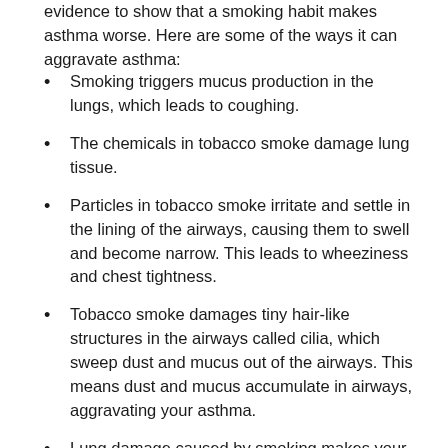evidence to show that a smoking habit makes asthma worse. Here are some of the ways it can aggravate asthma:
Smoking triggers mucus production in the lungs, which leads to coughing.
The chemicals in tobacco smoke damage lung tissue.
Particles in tobacco smoke irritate and settle in the lining of the airways, causing them to swell and become narrow. This leads to wheeziness and chest tightness.
Tobacco smoke damages tiny hair-like structures in the airways called cilia, which sweep dust and mucus out of the airways. This means dust and mucus accumulate in airways, aggravating your asthma.
Lung damage caused by smoking makes your asthma less responsive to medication.